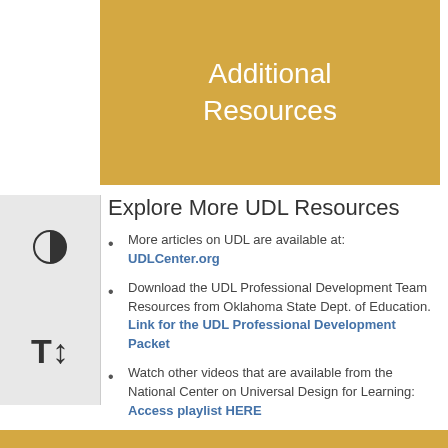Additional Resources
Explore More UDL Resources
More articles on UDL are available at: UDLCenter.org
Download the UDL Professional Development Team Resources from Oklahoma State Dept. of Education. Link for the UDL Professional Development Packet
Watch other videos that are available from the National Center on Universal Design for Learning: Access playlist HERE
Explore Special subject Content Resources coming soon...